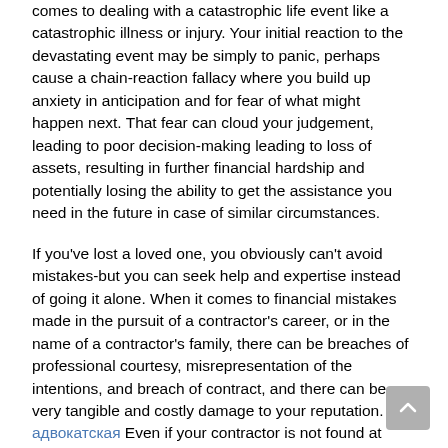comes to dealing with a catastrophic life event like a catastrophic illness or injury. Your initial reaction to the devastating event may be simply to panic, perhaps cause a chain-reaction fallacy where you build up anxiety in anticipation and for fear of what might happen next. That fear can cloud your judgement, leading to poor decision-making leading to loss of assets, resulting in further financial hardship and potentially losing the ability to get the assistance you need in the future in case of similar circumstances.
If you've lost a loved one, you obviously can't avoid mistakes-but you can seek help and expertise instead of going it alone. When it comes to financial mistakes made in the pursuit of a contractor's career, or in the name of a contractor's family, there can be breaches of professional courtesy, misrepresentation of the intentions, and breach of contract, and there can be very tangible and costly damage to your reputation. Av адвокатская Even if your contractor is not found at fault, the circumstances surrounding his or her death mean that his =or her family will have to clear up the financial mess, if those matters are ever properly addressed. There are strict laws that govern how a contractor's family will have to account